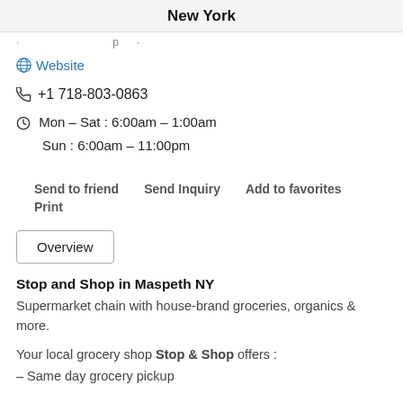New York
· · · p · · ·
🌐 Website
📞 +1 718-803-0863
🕐 Mon – Sat : 6:00am – 1:00am
        Sun : 6:00am – 11:00pm
Send to friend   Send Inquiry   Add to favorites
Print
Overview
Stop and Shop in Maspeth NY
Supermarket chain with house-brand groceries, organics & more.
Your local grocery shop Stop & Shop offers :
– Same day grocery pickup